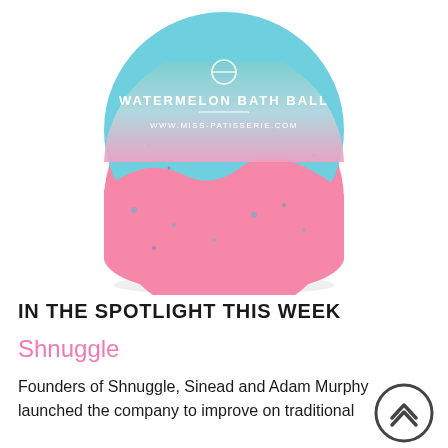[Figure (photo): A Miss Patisserie Watermelon Bath Ball product photo. The bath bomb is large, round, blue on top with pink on the bottom. It has a product label band reading 'WATERMELON BATH BALL' and 'WWW.MISS-PATISSERIE.COM' on a teal-to-pink gradient background with a small circle logo at the top.]
IN THE SPOTLIGHT THIS WEEK
Shnuggle
Founders of Shnuggle, Sinead and Adam Murphy launched the company to improve on traditional